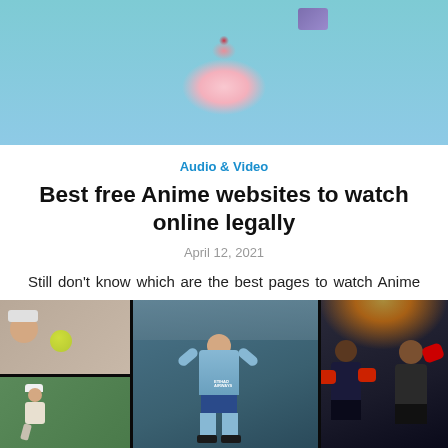[Figure (photo): Anime character with teal/blue hair and pink face, close-up shot]
Audio & Video
Best free Anime websites to watch online legally
April 12, 2021
Still don't know which are the best pages to watch Anime for free online? Take it easy. You've just come to the right place! In ...
[Figure (photo): Sports collage showing multiple sports including tennis, soccer player in Etihad jersey, boxing match, and golf]